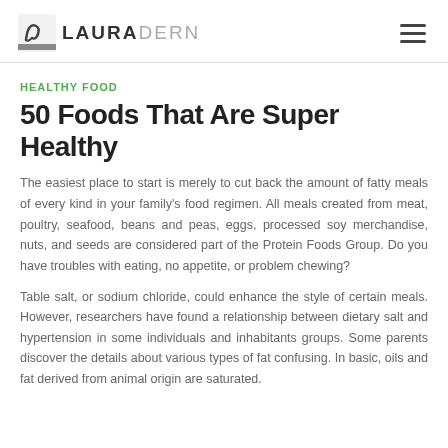LAURADERN
HEALTHY FOOD
50 Foods That Are Super Healthy
The easiest place to start is merely to cut back the amount of fatty meals of every kind in your family's food regimen. All meals created from meat, poultry, seafood, beans and peas, eggs, processed soy merchandise, nuts, and seeds are considered part of the Protein Foods Group. Do you have troubles with eating, no appetite, or problem chewing?
Table salt, or sodium chloride, could enhance the style of certain meals. However, researchers have found a relationship between dietary salt and hypertension in some individuals and inhabitants groups. Some parents discover the details about various types of fat confusing. In basic, oils and fat derived from animal origin are saturated.